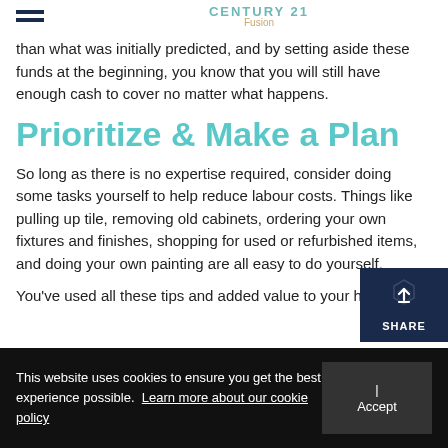CENTURY 21 Fusion
than what was initially predicted, and by setting aside these funds at the beginning, you know that you will still have enough cash to cover no matter what happens.
Prioritize & Make a Plan
So long as there is no expertise required, consider doing some tasks yourself to help reduce labour costs. Things like pulling up tile, removing old cabinets, ordering your own fixtures and finishes, shopping for used or refurbished items, and doing your own painting are all easy to do yourself.
You've used all these tips and added value to your ho
This website uses cookies to ensure you get the best experience possible. Learn more about our cookie policy